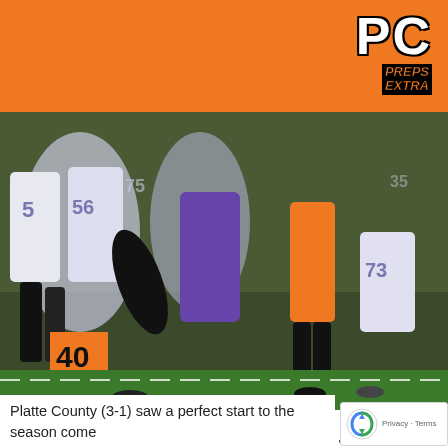PC PREPS EXTRA
[Figure (photo): Football game photo showing Platte County players and North Kansas City players on sideline/field. A player in orange pants is running, another in white jersey with number 5 is visible, players with numbers 56, 75, 73 are on sideline. A yard marker showing '40' in orange is visible. A coach in purple shirt stands in the background.]
TODD NUGENT/PC Preps Extra
Platte County senior wide receiver Colby Rollins hauls in a pass against North Kansas City on Friday at Pirate Stadium.
Platte County (3-1) saw a perfect start to the season come